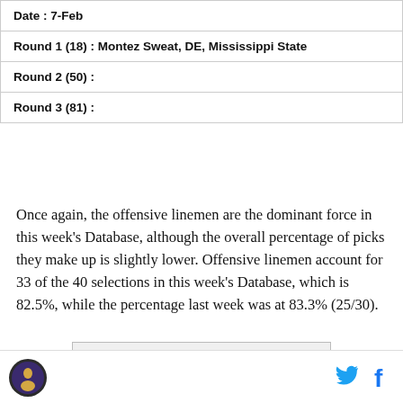| Date : 7-Feb |
| Round 1 (18) : Montez Sweat, DE, Mississippi State |
| Round 2 (50) : |
| Round 3 (81) : |
Once again, the offensive linemen are the dominant force in this week's Database, although the overall percentage of picks they make up is slightly lower. Offensive linemen account for 33 of the 40 selections in this week's Database, which is 82.5%, while the percentage last week was at 83.3% (25/30).
[Figure (other): Samsung advertisement banner with Samsung logo text in blue]
Site logo (circular icon) on left; Twitter bird icon and Facebook f icon on right